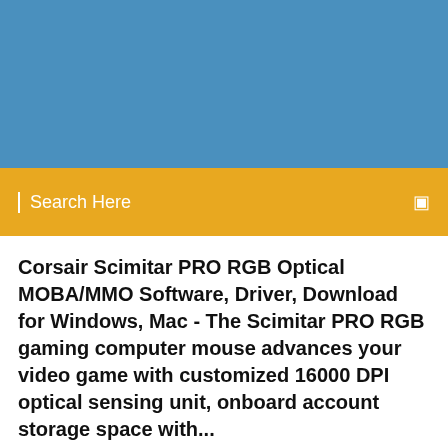[Figure (other): Blue header banner background]
Search Here
Corsair Scimitar PRO RGB Optical MOBA/MMO Software, Driver, Download for Windows, Mac - The Scimitar PRO RGB gaming computer mouse advances your video game with customized 16000 DPI optical sensing unit, onboard account storage space with...
Should I remove Corsair Link(TM) USB Dongle (Driver Removal) by Corsair Memory? The revolutionary AX1200i is the first desktop